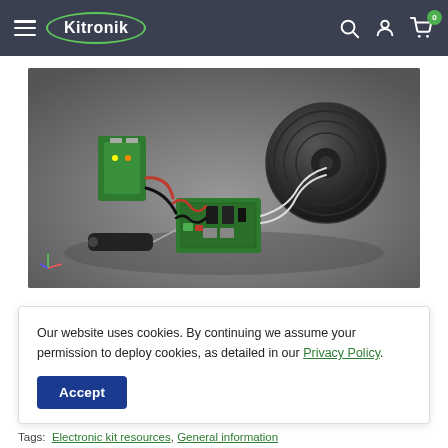Kitronik
[Figure (photo): 3D rendered photo of an electronic audio amplifier kit assembly showing a green PCB board connected with red and black wires to a green battery box, a large round black speaker, and a 3.5mm audio jack plug, all on a grey surface with coordinate axes visible in the bottom left corner.]
Our website uses cookies. By continuing we assume your permission to deploy cookies, as detailed in our Privacy Policy.
Accept
Tags:  Electronic kit resources, General information